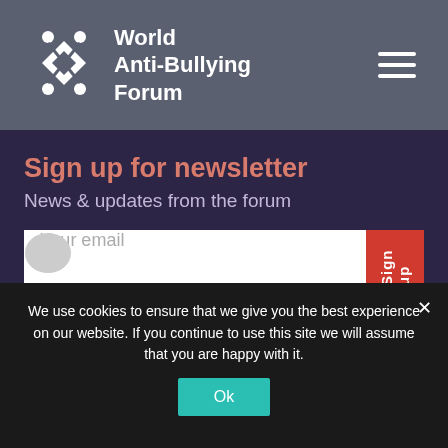World Anti-Bullying Forum
Sign up for newsletter
News & updates from the forum
Your email
info@worldantibullyingforum.com
We use cookies to ensure that we give you the best experience on our website. If you continue to use this site we will assume that you are happy with it.
Ok